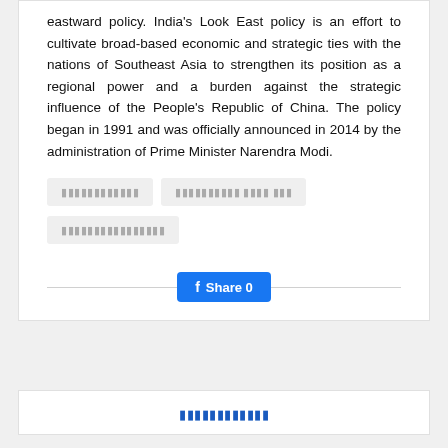eastward policy. India's Look East policy is an effort to cultivate broad-based economic and strategic ties with the nations of Southeast Asia to strengthen its position as a regional power and a burden against the strategic influence of the People's Republic of China. The policy began in 1991 and was officially announced in 2014 by the administration of Prime Minister Narendra Modi.
[tag placeholder 1] [tag placeholder 2] [tag placeholder 3]
Share 0
[title placeholder]